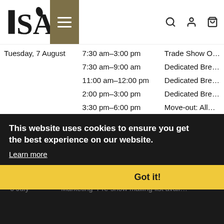ISA logo header with navigation
| Day | Time | Event |
| --- | --- | --- |
| Tuesday, 7 August | 7:30 am–3:00 pm | Trade Show O… |
|  | 7:30 am–9:00 am | Dedicated Bre… |
|  | 11:00 am–12:00 pm | Dedicated Bre… |
|  | 2:00 pm–3:00 pm | Dedicated Bre… |
|  | 3:30 pm–6:00 pm | Move-out: All… |
Important Deadlines
| Date | Description |
| --- | --- |
| 15 | Exhibitor services–Online service kit a… |
| 31 May | Accounting–Any booth rental fee bala… |
| 1 June | Company profile–Description for the p… |
| 1 July | Badge registration–Badge order forma… |
| 6 July | Marketing–Pre-show mailing list avail… |
This website uses cookies to ensure you get the best experience on our website.
Learn more
Got it!